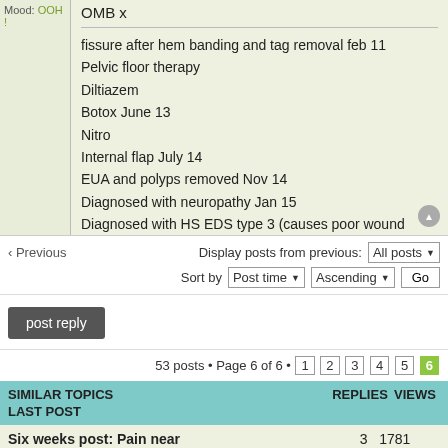Mood: OOH !
OMB x
fissure after hem banding and tag removal feb 11
Pelvic floor therapy
Diltiazem
Botox June 13
Nitro
Internal flap July 14
EUA and polyps removed Nov 14
Diagnosed with neuropathy Jan 15
Diagnosed with HS EDS type 3 (causes poor wound healing )
Display posts from previous: All posts
Sort by: Post time Ascending Go
post reply
53 posts • Page 6 of 6 • 1 2 3 4 5 6
| SIMILAR TOPICS | REPLIES | VIEWS |
| --- | --- | --- |
| LAST POST |  |  |
| Six weeks post: Pain near | 3 | 1781 |